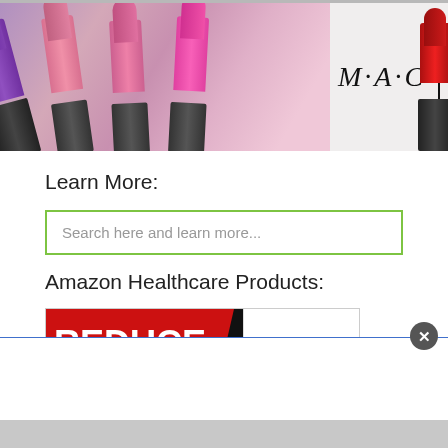[Figure (photo): MAC cosmetics advertisement banner showing colorful lipsticks on the left (purple, pink, rose, hot pink) and MAC logo with 'SHOP NOW' button in a bordered box on the right, with a red lipstick on the far right edge.]
Learn More:
Search here and learn more...
Amazon Healthcare Products:
[Figure (photo): Amazon healthcare product advertisement banner showing 'REDUCE BACK PAIN' text on a red background with a diagonal black flap and a white panel on the right side. A partial figure is visible.]